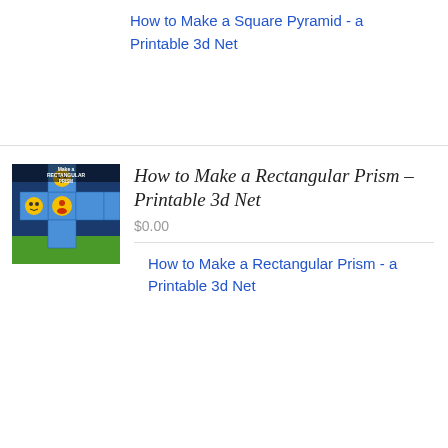How to Make a Square Pyramid - a Printable 3d Net
[Figure (illustration): Thumbnail image of a rectangular prism net with emoji faces on blue cube faces, with grass and sky background, labeled 'Make a Rectangular PRISM']
How to Make a Rectangular Prism – Printable 3d Net
$0.00
How to Make a Rectangular Prism - a Printable 3d Net